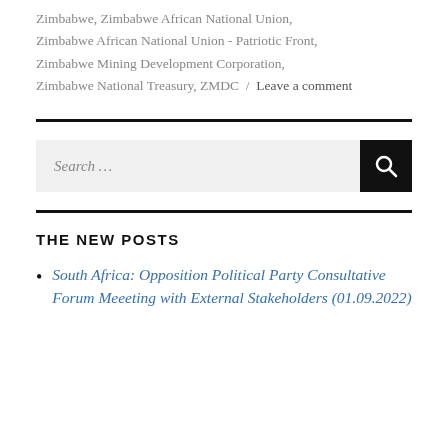Zimbabwe, Zimbabwe African National Union, Zimbabwe African National Union - Patriotic Front, Zimbabwe Mining Development Corporation, Zimbabwe National Treasury, ZMDC / Leave a comment
THE NEW POSTS
South Africa: Opposition Political Party Consultative Forum Meeeting with External Stakeholders (01.09.2022)